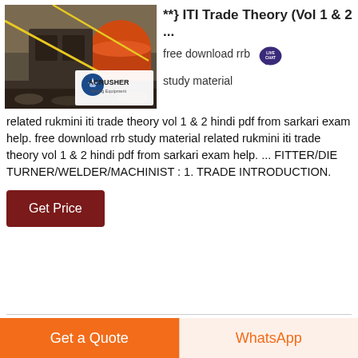[Figure (photo): Industrial mining equipment photo with ACRUSHER Mining Equipment logo overlay]
**} ITI Trade Theory (Vol 1 & 2 ...
free download rrb study material related rukmini iti trade theory vol 1 & 2 hindi pdf from sarkari exam help. free download rrb study material related rukmini iti trade theory vol 1 & 2 hindi pdf from sarkari exam help. ... FITTER/DIE TURNER/WELDER/MACHINIST : 1. TRADE INTRODUCTION.
Get Price
Get a Quote
WhatsApp